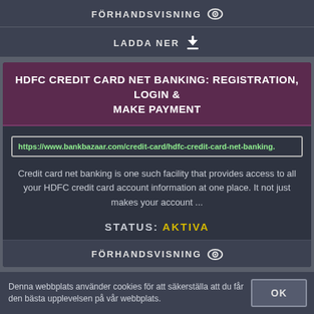FÖRHANDSVISNING
LADDA NER
HDFC CREDIT CARD NET BANKING: REGISTRATION, LOGIN & MAKE PAYMENT
https://www.bankbazaar.com/credit-card/hdfc-credit-card-net-banking.
Credit card net banking is one such facility that provides access to all your HDFC credit card account information at one place. It not just makes your account ...
STATUS: AKTIVA
FÖRHANDSVISNING
Denna webbplats använder cookies för att säkerställa att du får den bästa upplevelsen på vår webbplats.